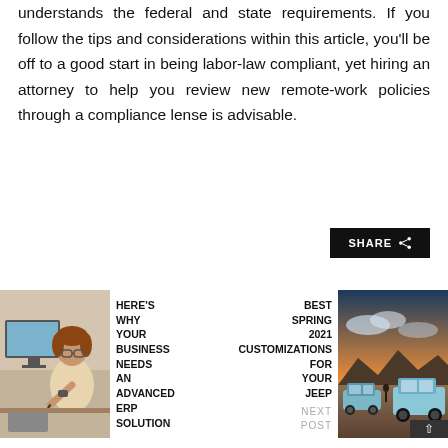understands the federal and state requirements. If you follow the tips and considerations within this article, you'll be off to a good start in being labor-law compliant, yet hiring an attorney to help you review new remote-work policies through a compliance lense is advisable.
[Figure (other): Share button with share icon]
[Figure (photo): Woman working at a desk with a laptop and taking notes]
HERE'S WHY YOUR BUSINESS NEEDS AN ADVANCED ERP SOLUTION
BEST SPRING 2021 CUSTOMIZATIONS FOR YOUR JEEP
[Figure (photo): Jeep vehicles in a desert landscape at sunset]
NEXT POST